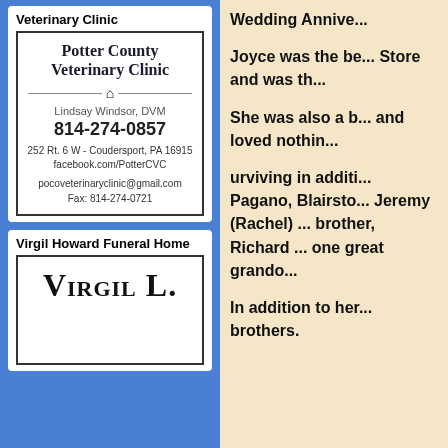Veterinary Clinic
[Figure (illustration): Potter County Veterinary Clinic advertisement box with clinic name, house icon, DVM name Lindsay Windsor, phone 814-274-0857, address 252 Rt. 6 W - Coudersport PA 16915, facebook.com/PotterCVC, pocoveterinaryclinic@gmail.com, Fax: 814-274-0721]
Virgil Howard Funeral Home
[Figure (illustration): Virgil L. (funeral home name) large bold text in advertisement box]
Wedding Annive...
Joyce was the be... Store and was th...
She was also a b... and loved nothin...
urviving in additi... Pagano, Blairsto... Jeremy (Rachel) ... brother, Richard ... one great grando...
In addition to her... brothers.